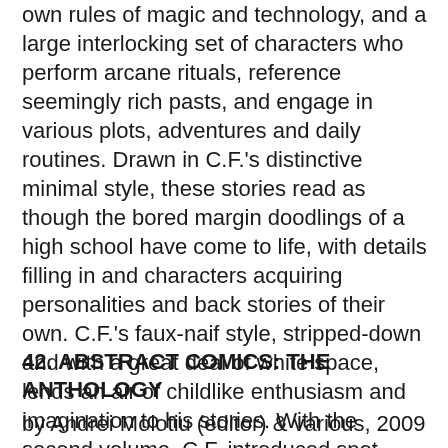own rules of magic and technology, and a large interlocking set of characters who perform arcane rituals, reference seemingly rich pasts, and engage in various plots, adventures and daily routines. Drawn in C.F.'s distinctive minimal style, these stories read as though the bored margin doodlings of a high school have come to life, with details filling in and characters acquiring personalities and back stories of their own. C.F.'s faux-naif style, stripped-down and with a great deal of white space, lends an air of childlike enthusiasm and imagination to his stories. With the second volume, C.F. introduced spot watercolor to his black-and-white drawings, a welcome addition since the best of his previous work has always exploited his feel for color. In these first two volumes, it still feels like C.F. is setting the groundwork for a complex epic to come, introducing characters and establishing relationships. But on the other hand one can equally easily imagine a whole series like this, in which grand dramas are subsumed by the surreal daily life of this imaginary land. [buy] | [buy]
42. ABSTRACT COMICS: THE ANTHOLOGY
by Andrei Molotiu (editor) & various, 2009